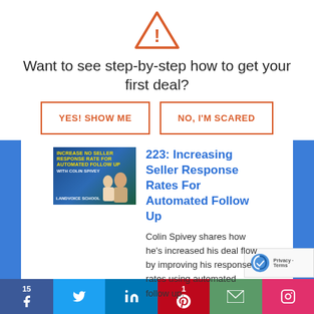[Figure (illustration): Warning/alert triangle icon with exclamation mark in orange/red outline style]
Want to see step-by-step how to get your first deal?
[Figure (other): Two CTA buttons: 'YES! SHOW ME' and 'NO, I'M SCARED', orange outlined buttons]
[Figure (photo): Thumbnail image for podcast episode 223 about increasing seller response rates for automated follow up, with text overlay and two people]
223: Increasing Seller Response Rates For Automated Follow Up
Colin Spivey shares how he's increased his deal flow by improving his response rates using automated follow up.
[Figure (other): Social sharing bar with Facebook (15), Twitter, LinkedIn, Pinterest (1), Email, Instagram icons]